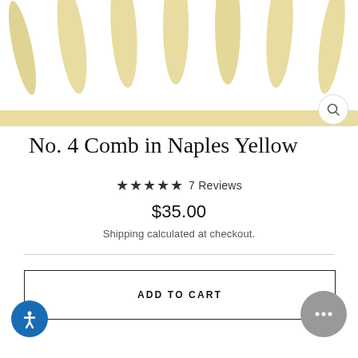[Figure (photo): Close-up photo of comb teeth in Naples Yellow color, showing elongated pale yellow tines against white background]
No. 4 Comb in Naples Yellow
★★★★★ 7 Reviews
$35.00
Shipping calculated at checkout.
ADD TO CART